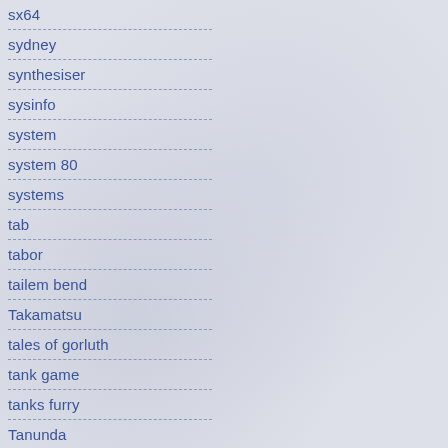sx64
sydney
synthesiser
sysinfo
system
system 80
systems
tab
tabor
tailem bend
Takamatsu
tales of gorluth
tank game
tanks furry
Tanunda
tape
telnet
tenku no mori
text